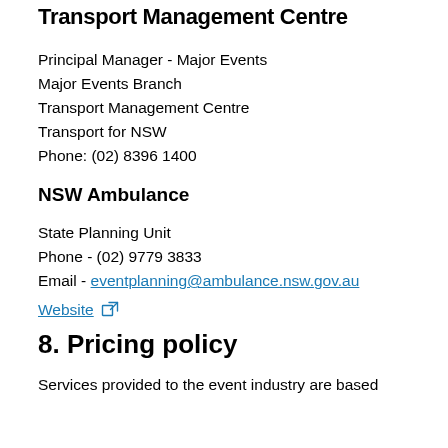Transport Management Centre
Principal Manager - Major Events
Major Events Branch
Transport Management Centre
Transport for NSW
Phone: (02) 8396 1400
NSW Ambulance
State Planning Unit
Phone - (02) 9779 3833
Email - eventplanning@ambulance.nsw.gov.au
Website [external link icon]
8. Pricing policy
Services provided to the event industry are based